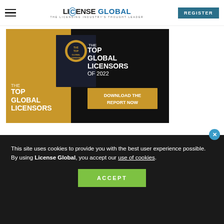LICENSE GLOBAL — THE LICENSING INDUSTRY'S THOUGHT LEADER | REGISTER
[Figure (illustration): Advertisement banner for 'The Top Global Licensors of 2022' report with a dark background, gold accents, and a download call-to-action button]
This site uses cookies to provide you with the best user experience possible. By using License Global, you accept our use of cookies.
ACCEPT